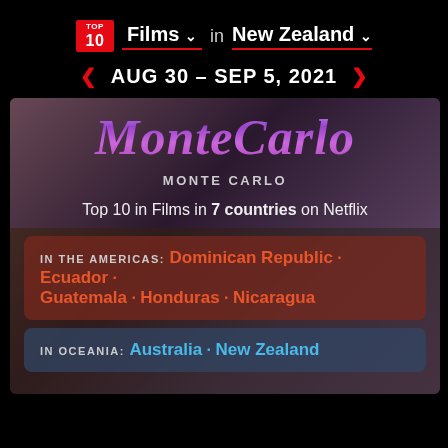[Figure (screenshot): TOP 10 badge logo in red]
Films in New Zealand
AUG 30 - SEP 5, 2021
[Figure (photo): Monte Carlo movie banner background]
MonteCarlo
MONTE CARLO
Top 10 in Films in 7 countries on Netflix
IN THE AMERICAS: Dominican Republic · Ecuador · Guatemala · Honduras · Nicaragua
IN OCEANIA: Australia · New Zealand